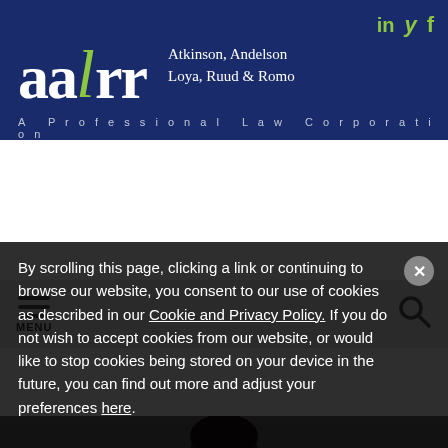[Figure (logo): AALRR law firm logo with green slash, white text on dark blue background, with social media icons (LinkedIn, Twitter, Facebook) in green top right]
Atkinson, Andelson
Loya, Ruud & Romo
A Professional Law Corporation
[Figure (screenshot): Navigation bar with hamburger menu (MENU) on left and search icon on right, gray background]
[Figure (photo): Professional headshot photo of a person with dark hair against a gray gradient background]
By scrolling this page, clicking a link or continuing to browse our website, you consent to our use of cookies as described in our Cookie and Privacy Policy. If you do not wish to accept cookies from our website, or would like to stop cookies being stored on your device in the future, you can find out more and adjust your preferences here.